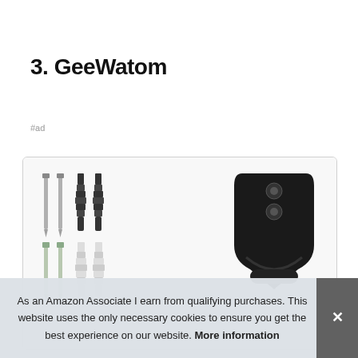3. GeeWatom
#ad
[Figure (photo): Product image showing screws, wall anchors, and a black metal bracket/mounting hardware for GeeWatom product]
As an Amazon Associate I earn from qualifying purchases. This website uses the only necessary cookies to ensure you get the best experience on our website. More information